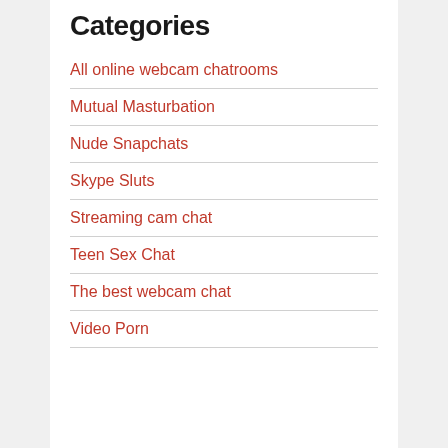Categories
All online webcam chatrooms
Mutual Masturbation
Nude Snapchats
Skype Sluts
Streaming cam chat
Teen Sex Chat
The best webcam chat
Video Porn